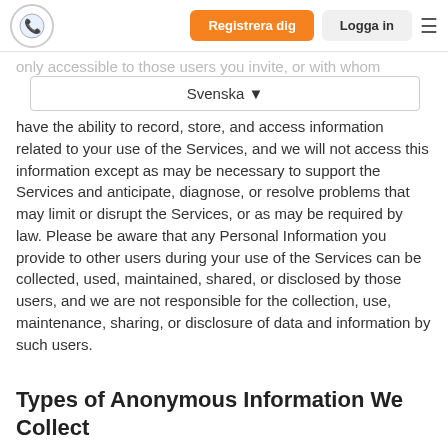Registrera dig | Logga in
only accessible to those users you invite, or with whom
Svenska
have the ability to record, store, and access information related to your use of the Services, and we will not access this information except as may be necessary to support the Services and anticipate, diagnose, or resolve problems that may limit or disrupt the Services, or as may be required by law. Please be aware that any Personal Information you provide to other users during your use of the Services can be collected, used, maintained, shared, or disclosed by those users, and we are not responsible for the collection, use, maintenance, sharing, or disclosure of data and information by such users.
Types of Anonymous Information We Collect